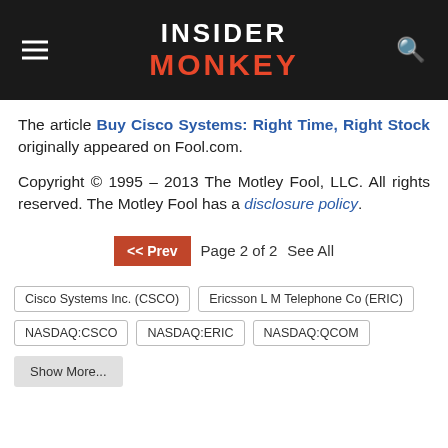INSIDER MONKEY
The article Buy Cisco Systems: Right Time, Right Stock originally appeared on Fool.com.
Copyright © 1995 – 2013 The Motley Fool, LLC. All rights reserved. The Motley Fool has a disclosure policy.
<< Prev  Page 2 of 2  See All
Cisco Systems Inc. (CSCO)
Ericsson L M Telephone Co (ERIC)
NASDAQ:CSCO
NASDAQ:ERIC
NASDAQ:QCOM
Show More...